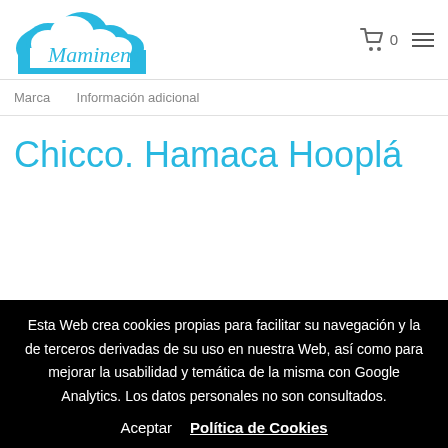[Figure (logo): Maminens cloud logo with light blue cloud shape and cursive text 'Maminens']
0
Marca
Información adicional
Chicco. Hamaca Hooplá
Esta Web crea cookies propias para facilitar su navegación y la de terceros derivadas de su uso en nuestra Web, así como para mejorar la usabilidad y temática de la misma con Google Analytics. Los datos personales no son consultados.
Aceptar  Política de Cookies